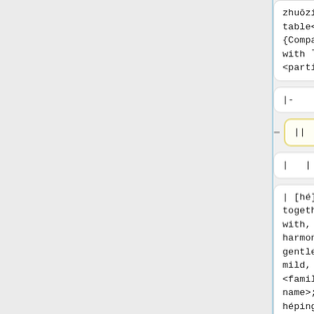| zhuōzi
table<br />
{Compare
with 了 le
<particle>} | zhuōzi
table<br />
{Compare
with 了 le
<particle>} |
| |- | |- |
| || | ||kansa |
| | | 了 | | | 了 |
| | [hé]
together,
with, (F了)
harmony,
gentle,
mild, kind,
<family
name>; 和和
héping
peace<br />
[Hé] | | [hé]
together,
with, (F了)
harmony,
gentle,
mild, kind,
<family
name>; 和和
héping
peace<br />
[Hé] |